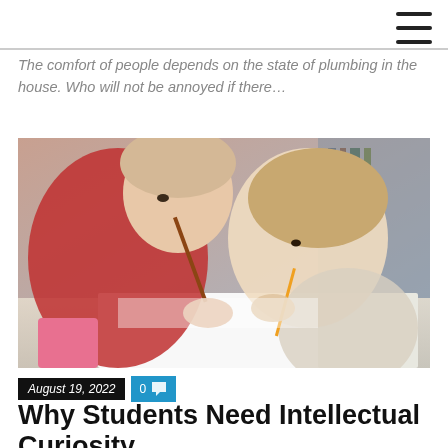The comfort of people depends on the state of plumbing in the house. Who will not be annoyed if there…
[Figure (photo): Two young girls leaning over a notebook, writing with pencils; one wears a red jacket.]
August 19, 2022  0
Why Students Need Intellectual Curiosity